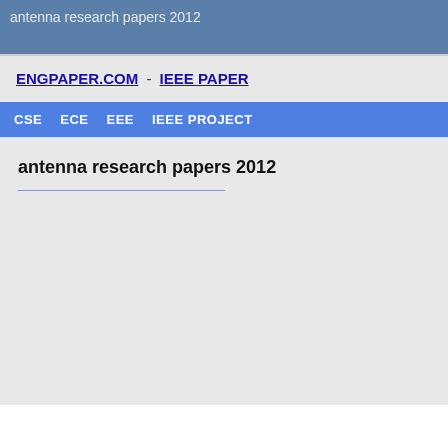antenna research papers 2012
ENGPAPER.COM - IEEE PAPER
CSE  ECE  EEE  IEEE PROJECT
antenna research papers 2012